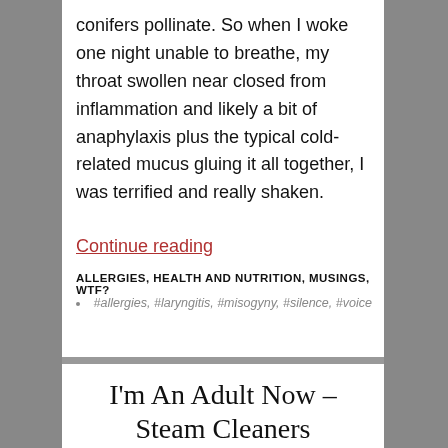…actually gets very bad in the spring when the conifers pollinate. So when I woke one night unable to breathe, my throat swollen near closed from inflammation and likely a bit of anaphylaxis plus the typical cold-related mucus gluing it all together, I was terrified and really shaken.
Continue reading
ALLERGIES, HEALTH AND NUTRITION, MUSINGS, WTF?
#allergies, #laryngitis, #misogyny, #silence, #voice
I'm An Adult Now – Steam Cleaners